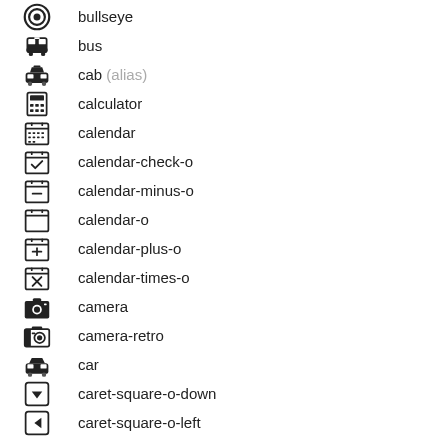bullseye
bus
cab (alias)
calculator
calendar
calendar-check-o
calendar-minus-o
calendar-o
calendar-plus-o
calendar-times-o
camera
camera-retro
car
caret-square-o-down
caret-square-o-left